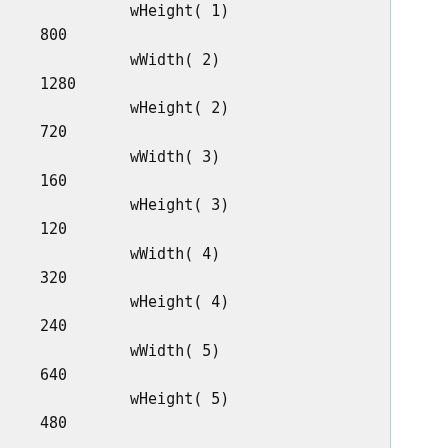wHeight( 1)
800
    wWidth( 2)
1280
    wHeight( 2)
720
    wWidth( 3)
160
    wHeight( 3)
120
    wWidth( 4)
320
    wHeight( 4)
240
    wWidth( 5)
640
    wHeight( 5)
480

bNumCompressionPatterns
6
        VideoStreaming Interface Descriptor:
            bLength

6